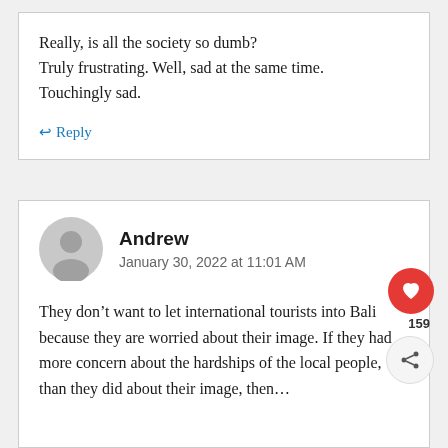Really, is all the society so dumb?
Truly frustrating. Well, sad at the same time.
Touchingly sad.
↩ Reply
Andrew
January 30, 2022 at 11:01 AM
They don't want to let international tourists into Bali because they are worried about their image. If they had more concern about the hardships of the local people, than they did about their image, then…